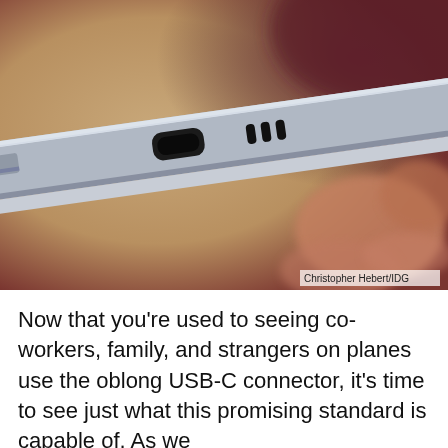[Figure (photo): Close-up photo of the bottom edge of a silver smartphone or tablet being held by a hand, showing a USB-C port and speaker grille holes. Blurred warm beige and dark red background.]
Christopher Hebert/IDG
Now that you're used to seeing co-workers, family, and strangers on planes use the oblong USB-C connector, it's time to see just what this promising standard is capable of. As we